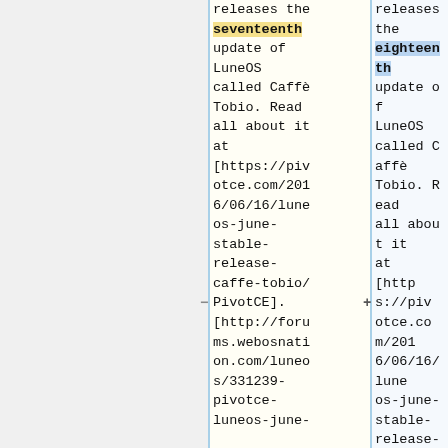releases the seventeenth update of LuneOS called Caffè Tobio. Read all about it at [https://pivotce.com/2016/06/16/luneos-june-stable-release-caffe-tobio/PivotCE]. [http://forums.webosnation.com/luneos/331239-pivotce-luneos-june-
releases the eighteenth update of LuneOS called Caffè Tobio. Read all about it at [https://pivotce.com/2016/06/16/luneos-june-stable-release-caffe-tobio/PivotCE]. [http://forums.webosnation.com/luneos/331239-pivotce-luneos-june-